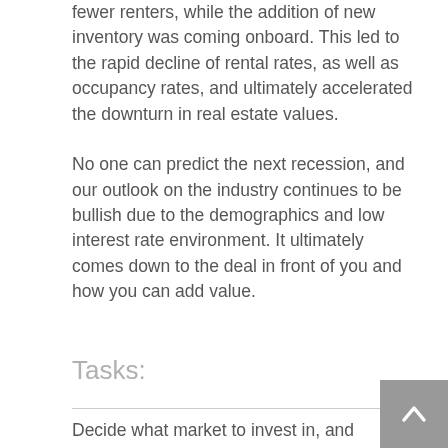fewer renters, while the addition of new inventory was coming onboard. This led to the rapid decline of rental rates, as well as occupancy rates, and ultimately accelerated the downturn in real estate values.
No one can predict the next recession, and our outlook on the industry continues to be bullish due to the demographics and low interest rate environment. It ultimately comes down to the deal in front of you and how you can add value.
Tasks:
Decide what market to invest in, and